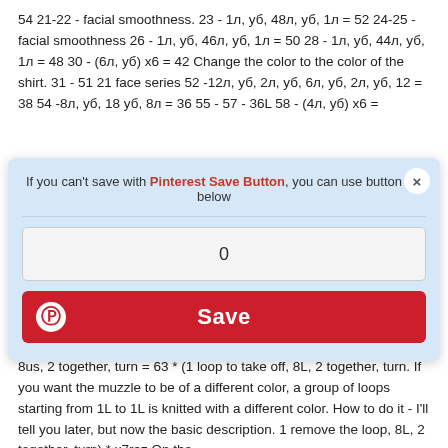54 21-22 - facial smoothness. 23 - 1л, уб, 48л, уб, 1л = 52 24-25 - facial smoothness 26 - 1л, уб, 46л, уб, 1л = 50 28 - 1л, уб, 44л, уб, 1л = 48 30 - (6л, уб) х6 = 42 Change the color to the color of the shirt. 31 - 51 21 face series 52 -12л, уб, 2л, уб, 6л, уб, 2л, уб, 12 = 38 54 -8л, уб, 18 уб, 8л = 36 55 - 57 - 36L 58 - (4л, уб) х6 =
[Figure (screenshot): Pinterest Save Button modal dialog with message 'If you can't save with Pinterest Save Button, you can use button below', a counter showing 0, and a red Save button with Pinterest icon]
Prib, 10L, Prib, 23L = 58 82 - 24l, prib, 10l, prib, 24 = 60 84 - 25l, prib, 10l, prib, 25n = 62 86 - 26L, Prib, 10l, Prib, 26 = 64 We untangle the muzzle 88 - 27л + 9л, уб, поворот, 1 loop to remove, 8us, 2 together, turn = 63 * (1 loop to take off, 8L, 2 together, turn. If you want the muzzle to be of a different color, a group of loops starting from 1L to 1L is knitted with a different color. How to do it - I'll tell you later, but now the basic description. 1 remove the loop, 8L, 2 together, turn) * x7raz On the